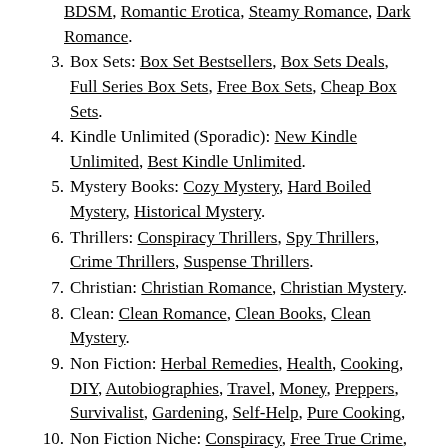BDSM, Romantic Erotica, Steamy Romance, Dark Romance.
3. Box Sets: Box Set Bestsellers, Box Sets Deals, Full Series Box Sets, Free Box Sets, Cheap Box Sets.
4. Kindle Unlimited (Sporadic): New Kindle Unlimited, Best Kindle Unlimited.
5. Mystery Books: Cozy Mystery, Hard Boiled Mystery, Historical Mystery.
6. Thrillers: Conspiracy Thrillers, Spy Thrillers, Crime Thrillers, Suspense Thrillers.
7. Christian: Christian Romance, Christian Mystery.
8. Clean: Clean Romance, Clean Books, Clean Mystery.
9. Non Fiction: Herbal Remedies, Health, Cooking, DIY, Autobiographies, Travel, Money, Preppers, Survivalist, Gardening, Self-Help, Pure Cooking,
10. Non Fiction Niche: Conspiracy, Free True Crime, History, Programming, Travel, Exercise.
11. Fiction Books: Westerns, Classics,